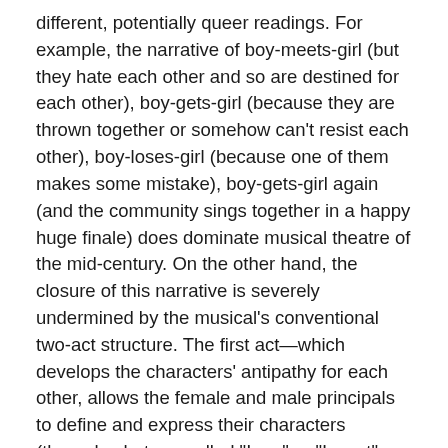different, potentially queer readings. For example, the narrative of boy-meets-girl (but they hate each other and so are destined for each other), boy-gets-girl (because they are thrown together or somehow can't resist each other), boy-loses-girl (because one of them makes some mistake), boy-gets-girl again (and the community sings together in a happy huge finale) does dominate musical theatre of the mid-century. On the other hand, the closure of this narrative is severely undermined by the musical's conventional two-act structure. The first act—which develops the characters' antipathy for each other, allows the female and male principals to define and express their characters (through what are called "I am" or "I want" songs), and demonstrates homosocial bonding within the singly gendered choruses—is much longer and more song-filled than the second act, which resolves the romance through reprises and, often, less interesting musical numbers. For lesbian spectators, it becomes quite easy to read against the grain of this heterosexual